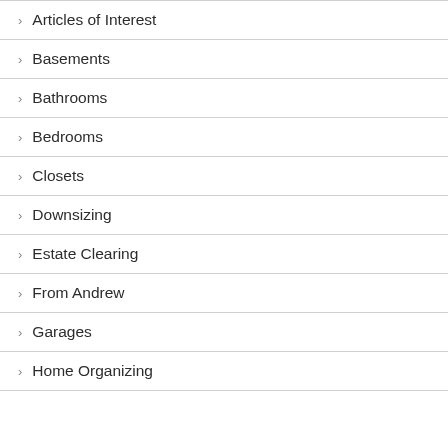> Articles of Interest
> Basements
> Bathrooms
> Bedrooms
> Closets
> Downsizing
> Estate Clearing
> From Andrew
> Garages
> Home Organizing